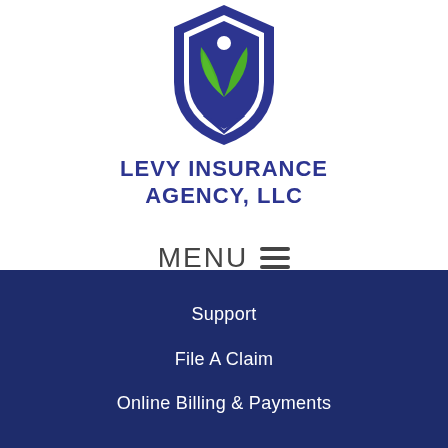[Figure (logo): Levy Insurance Agency LLC shield logo with green leaves and blue shield design]
LEVY INSURANCE AGENCY, LLC
MENU ☰
Support
File A Claim
Online Billing & Payments